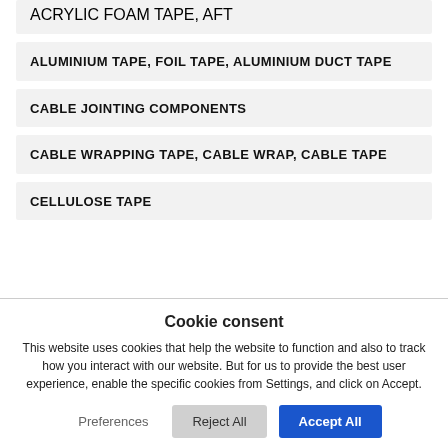ACRYLIC FOAM TAPE, AFT
ALUMINIUM TAPE, FOIL TAPE, ALUMINIUM DUCT TAPE
CABLE JOINTING COMPONENTS
CABLE WRAPPING TAPE, CABLE WRAP, CABLE TAPE
CELLULOSE TAPE
Cookie consent
This website uses cookies that help the website to function and also to track how you interact with our website. But for us to provide the best user experience, enable the specific cookies from Settings, and click on Accept.